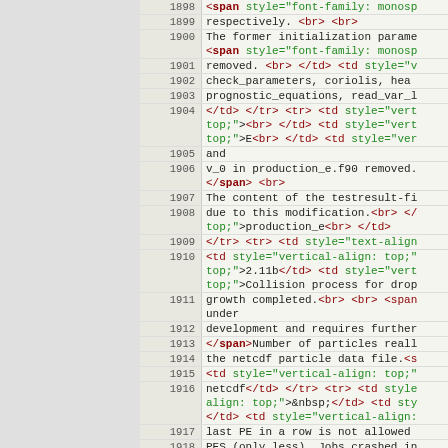Source code viewer showing lines 1898-1920 of an HTML/code file with line numbers and syntax highlighting.